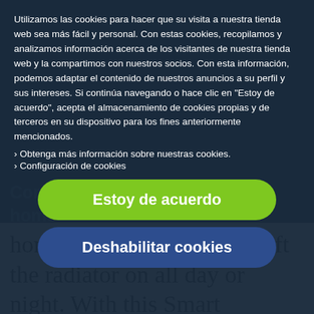Utilizamos las cookies para hacer que su visita a nuestra tienda web sea más fácil y personal. Con estas cookies, recopilamos y analizamos información acerca de los visitantes de nuestra tienda web y la compartimos con nuestros socios. Con esta información, podemos adaptar el contenido de nuestros anuncios a su perfil y sus intereses. Si continúa navegando o hace clic en "Estoy de acuerdo", acepta el almacenamiento de cookies propias y de terceros en su dispositivo para los fines anteriormente mencionados.
Obtenga más información sobre nuestras cookies.
Configuración de cookies
[Figure (other): Green pill-shaped button labeled 'Estoy de acuerdo' (I agree)]
[Figure (other): Dark blue pill-shaped button labeled 'Deshabilitar cookies' (Disable cookies)]
home to find out that you left the radiator on all day or night. With this Smart Radiator Control you never have to worry about if